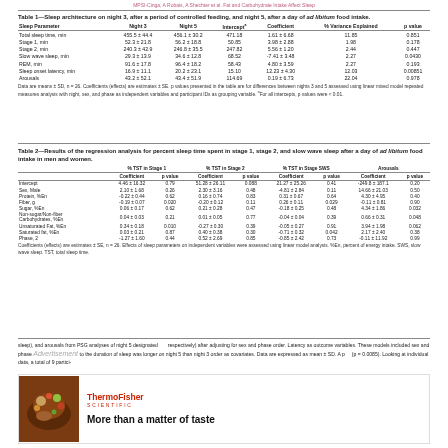MPSI-Cinga, A Robais, A Shechter et al. Fat and Carbohydrate Intake Affect Sleep
Table 1—Sleep architecture on night 3, after a period of controlled feeding, and night 5, after a day of ad libitum food intake.
| Sleep Parameter | Night 3 | Night 5 | Intercept | Coefficient | % Variance Explained | p value |
| --- | --- | --- | --- | --- | --- | --- |
| Total sleep time, min | 455.5 ± 44.4 | 456.1 ± 30.2 | 471.18 | 1.61 ± 6.68 | 11.85 | 0.851 |
| Stage 1, min | 52.3 ± 21.8 | 56.2 ± 18.8 | 50.85 | 3.98 ± 2.88 | 1.98 | 0.178 |
| Stage 2, min | 240.3 ± 42.9 | 246.8 ± 35.5 | 247.82 | 5.56 ± 1.20 | 2.44 | 0.447 |
| Slow wave sleep, min | 29.3 ± 13.9 | 34.6 ± 12.8 | 68.52 | -7.41 ± 3.48 | 2.27 | 0.0430 |
| REM, min | 91.6 ± 17.8 | 96.4 ± 18.2 | 58.43 | 4.80 ± 3.59 | 2.27 | 0.193 |
| Sleep onset latency, min | 16.9 ± 11.1 | 20.2 ± 23.1 | 15.10 | 12.23 ± 4.30 | 12.03 | 0.00851 |
| Arousals | 43.2 ± 52.1 | 43.4 ± 51.9 | 114.69 | 0.19 ± 6.73 | 22.04 | 0.978 |
Data are means ± SD, n = 26. Coefficients (effects) are estimates ± SE. p values presented in the table are for differences between nights 3 and 5 assessed using linear mixed model repeated measures analysis with night, sex, and phase as independent variables and participant IDs as grouping variable. aFor all intercepts, p values were < 0.01.
Table 2—Results of the regression analysis for percent sleep time spent in stage 1, stage 2, and slow wave sleep after a day of ad libitum food intake in men and women.
|  | % TST in Stage 1 Coefficient | % TST in Stage 1 p value | % TST in Stage 2 Coefficient | % TST in Stage 2 p value | % TST in Stage SWS Coefficient | % TST in Stage SWS p value | Arousals Coefficient | Arousals p value |
| --- | --- | --- | --- | --- | --- | --- | --- | --- |
| Intercept | 4.46 ± 16.32 | 0.79 | 51.28 ± 26.11 | 0.088 | 21.27 ± 25.26 | 0.41 | -249.8 ± 187.1 | 0.20 |
| Sex, Male | 2.10 ± 1.68 | 0.26 | 2.30 ± 3.16 | 0.48 | -4.81 ± 2.84 | 0.11 | 14.66 ± 21.03 | 0.50 |
| Protein, %En | -0.22 ± 0.44 | 0.62 | 0.16 ± 0.74 | 0.83 | 0.31 ± 0.67 | 0.64 | 4.30 ± 4.95 | 0.40 |
| Fiber, g | -0.19 ± 0.07 | 0.020 | -0.20 ± 0.12 | 0.11 | 0.26 ± 0.11 | 0.029 | -0.11 ± 0.81 | 0.90 |
| Sugar, %En | 0.06 ± 0.17 | 0.62 | 0.21 ± 0.28 | 0.47 | -0.18 ± 0.25 | 0.48 | 4.34 ± 1.86 | 0.032 |
| Non-sugar/Non-fiber Carbohydrates, %En | 0.04 ± 0.03 | 0.21 | 0.01 ± 0.05 | 0.77 | -0.04 ± 0.04 | 0.39 | 0.66 ± 0.31 | 0.048 |
| Unsaturated Fat, %En | 0.34 ± 0.18 | 0.010 | -0.27 ± 0.30 | 0.39 | -0.05 ± 0.27 | 0.91 | 3.94 ± 1.98 | 0.062 |
| Saturated fat, %En | 0.03 ± 0.21 | 0.87 | 0.40 ± 0.38 | 0.30 | -0.71 ± 0.32 | 0.042 | 2.17 ± 2.40 | 0.38 |
| Phase, 2 | -1.27 ± 1.60 | 0.44 | 0.52 ± 2.69 | 0.85 | -0.85 ± 2.42 | 0.73 | -0.11 ± 11.92 | 0.99 |
Coefficients (effects) are estimates ± SE, n = 26. Effects of sleep parameters on independent variables were assessed using linear model analysis. %En, percent of energy intake. SWS, slow wave sleep. TST, total sleep time.
sleep), and arousals from PSG analyses of night 5 designated respectively) after adjusting for sex and phase order. Latency as outcome variables. These models included sex and phase to the duration of sleep was longer on night 5 than night 3 order as covariates. Data are expressed as mean ± SD. A p (p = 0.0085). Looking at individual data, a total of 9 partici-
[Figure (photo): Photo of food dish, colorful ingredients]
ThermoFisher SCIENTIFIC
More than a matter of taste